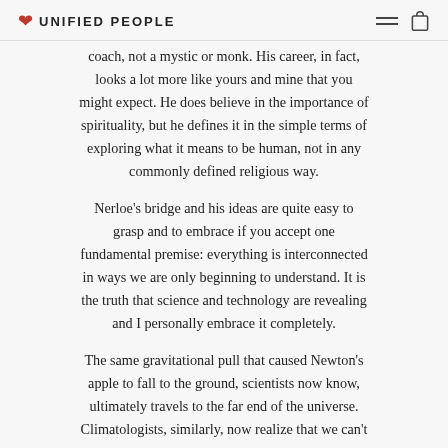UNIFIED PEOPLE
coach, not a mystic or monk. His career, in fact, looks a lot more like yours and mine that you might expect. He does believe in the importance of spirituality, but he defines it in the simple terms of exploring what it means to be human, not in any commonly defined religious way.
Nerloe's bridge and his ideas are quite easy to grasp and to embrace if you accept one fundamental premise: everything is interconnected in ways we are only beginning to understand. It is the truth that science and technology are revealing and I personally embrace it completely.
The same gravitational pull that caused Newton's apple to fall to the ground, scientists now know, ultimately travels to the far end of the universe. Climatologists, similarly, now realize that we can't